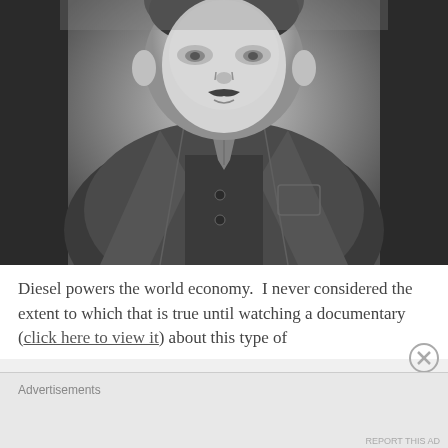[Figure (photo): Black and white historical photograph of a man with a mustache wearing a dark jacket with lapels and a cravat/necktie, shown from chest up, slightly blurred background.]
Diesel powers the world economy.  I never considered the extent to which that is true until watching a documentary (click here to view it) about this type of
Advertisements